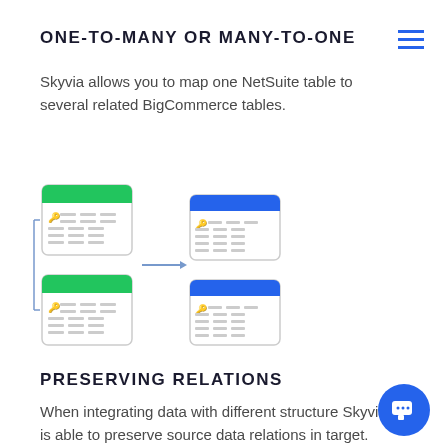ONE-TO-MANY OR MANY-TO-ONE
Skyvia allows you to map one NetSuite table to several related BigCommerce tables.
[Figure (infographic): Diagram showing one-to-many table relationship: one green-header table on the left connected by an arrow to two blue-header tables on the right, each table showing rows with a key icon.]
PRESERVING RELATIONS
When integrating data with different structure Skyvia is able to preserve source data relations in target.